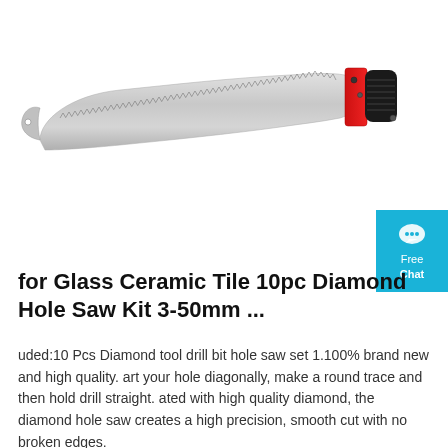[Figure (photo): A curved hand saw with a serrated blade, red and black handle. The blade is silvery metallic and curves upward at the tip. The handle has a red guard and black wrapped grip.]
for Glass Ceramic Tile 10pc Diamond Hole Saw Kit 3-50mm ...
uded:10 Pcs Diamond tool drill bit hole saw set 1.100% brand new and high quality. art your hole diagonally, make a round trace and then hold drill straight. ated with high quality diamond, the diamond hole saw creates a high precision, smooth cut with no broken edges.